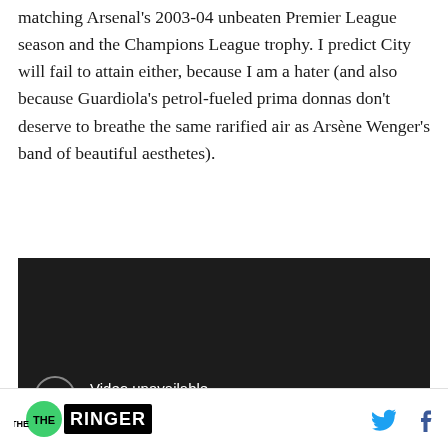matching Arsenal's 2003-04 unbeaten Premier League season and the Champions League trophy. I predict City will fail to attain either, because I am a hater (and also because Guardiola's petrol-fueled prima donnas don't deserve to breathe the same rarified air as Arsène Wenger's band of beautiful aesthetes).
[Figure (screenshot): Video unavailable message on dark background. Shows a circle with exclamation mark icon, text 'Video unavailable' and 'This video contains content from FA Premier League,']
THE RINGER [logo] [Twitter icon] [Facebook icon]